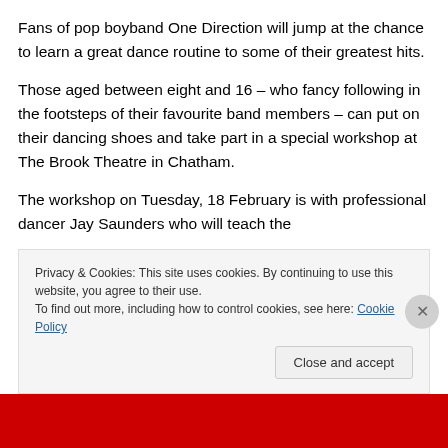Fans of pop boyband One Direction will jump at the chance to learn a great dance routine to some of their greatest hits.
Those aged between eight and 16 – who fancy following in the footsteps of their favourite band members – can put on their dancing shoes and take part in a special workshop at The Brook Theatre in Chatham.
The workshop on Tuesday, 18 February is with professional dancer Jay Saunders who will teach the
Privacy & Cookies: This site uses cookies. By continuing to use this website, you agree to their use.
To find out more, including how to control cookies, see here: Cookie Policy